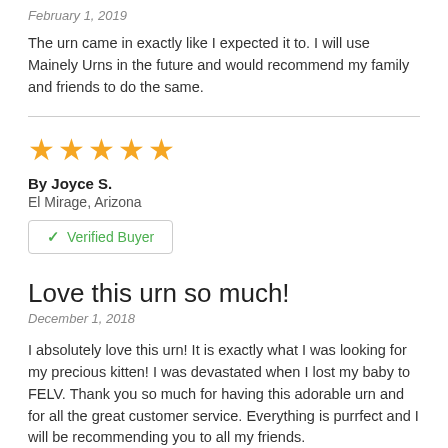February 1, 2019
The urn came in exactly like I expected it to. I will use Mainely Urns in the future and would recommend my family and friends to do the same.
[Figure (other): Five gold/orange star rating icons]
By Joyce S.
El Mirage, Arizona
✓ Verified Buyer
Love this urn so much!
December 1, 2018
I absolutely love this urn! It is exactly what I was looking for my precious kitten! I was devastated when I lost my baby to FELV. Thank you so much for having this adorable urn and for all the great customer service. Everything is purrfect and I will be recommending you to all my friends.